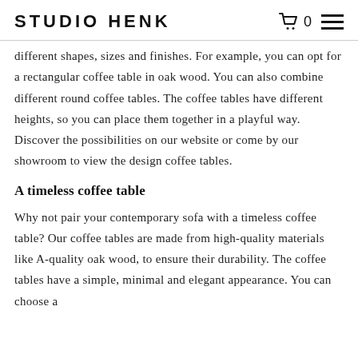STUDIO HENK
different shapes, sizes and finishes. For example, you can opt for a rectangular coffee table in oak wood. You can also combine different round coffee tables. The coffee tables have different heights, so you can place them together in a playful way. Discover the possibilities on our website or come by our showroom to view the design coffee tables.
A timeless coffee table
Why not pair your contemporary sofa with a timeless coffee table? Our coffee tables are made from high-quality materials like A-quality oak wood, to ensure their durability. The coffee tables have a simple, minimal and elegant appearance. You can choose a